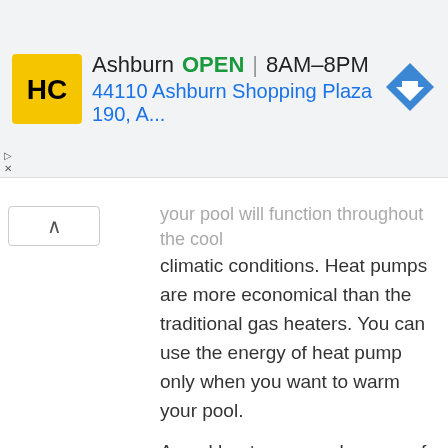[Figure (other): HC Home Depot style advertisement banner showing logo, business name Ashburn, OPEN status, hours 8AM-8PM, address 44110 Ashburn Shopping Plaza 190 A., and navigation arrow icon]
your pool will function throughout the cool climatic conditions. Heat pumps are more economical than the traditional gas heaters. You can use the energy of heat pump only when you want to warm your pool.
A pool heat pump makes use of electricity to pull the heat from surround air and transfers it to the pool water. Hence it is ecologically safe and clean while proving to be cost efficient. Read More..
Conclusion